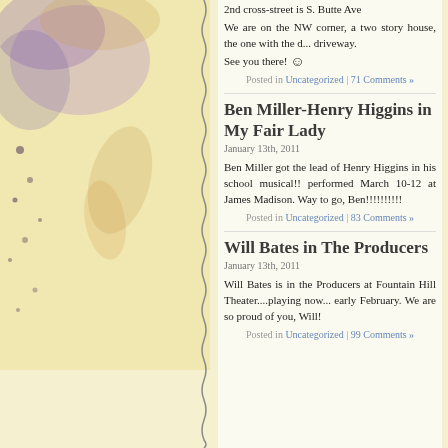2nd cross-street is S. Butte Ave
We are on the NW corner, a two story house, the one with the d... driveway.
See you there! 🙂
Posted in Uncategorized | 71 Comments »
Ben Miller-Henry Higgins in My Fair Lady
January 13th, 2011
Ben Miller got the lead of Henry Higgins in his school musical!! performed March 10-12 at James Madison. Way to go, Ben!!!!!!!!!!
Posted in Uncategorized | 83 Comments »
Will Bates in The Producers
January 13th, 2011
Will Bates is in the Producers at Fountain Hill Theater....playing now... early February. We are so proud of you, Will!
Posted in Uncategorized | 99 Comments »